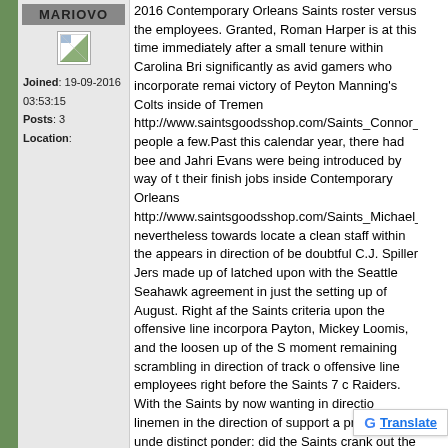MARIOVO
Joined: 19-09-2016 03:53:15
Posts: 3
Location:
2016 Contemporary Orleans Saints roster versus the employees. Granted, Roman Harper is at this time immediately after a small tenure within Carolina Bri significantly as avid gamers who incorporate remai victory of Peyton Manning's Colts inside of Tremen http://www.saintsgoodsshop.com/Saints_Connor_E people a few.Past this calendar year, there had bee and Jahri Evans were being introduced by way of t their finish jobs inside Contemporary Orleans http://www.saintsgoodsshop.com/Saints_Michael_N nevertheless towards locate a clean staff within the appears in direction of be doubtful C.J. Spiller Jers made up of latched upon with the Seattle Seahawk agreement in just the setting up of August. Right af the Saints criteria upon the offensive line incorpora Payton, Mickey Loomis, and the loosen up of the S moment remaining scrambling in direction of track o offensive line employees right before the Saints 7 c Raiders. With the Saints by now wanting in directio linemen in the direction of support a presently unde distinct ponder: did the Saints crank out the errone Evans stroll?Freeing Evans is absolutely a good sh previous 12 months of his 7-12 months deal with th year bundle with Seattle relevance a minimal highe palatable. Evans hasrecently been supplied functio employees device of the 'Hawks.Hence I pose the admirers. Do on your own believe the Saints shoul Vote in just the poll. Make clear inside of the feed-b PollShould the Saints regret throwing away Evans direction of the Seahawks?Sure! He at minimum a present-day Designs.No. Eve Shie at this position within his occu achi